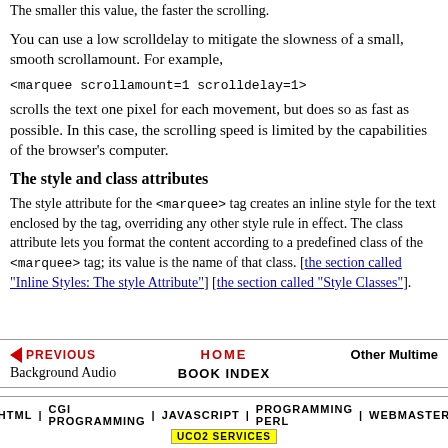The smaller this value, the faster the scrolling.
You can use a low scrolldelay to mitigate the slowness of a small, smooth scrollamount. For example,
<marquee scrollamount=1 scrolldelay=1>
scrolls the text one pixel for each movement, but does so as fast as possible. In this case, the scrolling speed is limited by the capabilities of the browser's computer.
The style and class attributes
The style attribute for the <marquee> tag creates an inline style for the text enclosed by the tag, overriding any other style rule in effect. The class attribute lets you format the content according to a predefined class of the <marquee> tag; its value is the name of that class. [the section called "Inline Styles: The style Attribute"] [the section called "Style Classes"].
PREVIOUS | HOME | BOOK INDEX | Background Audio | Other Multimedia | HTML | CGI PROGRAMMING | JAVASCRIPT | PROGRAMMING PERL | WEBMASTER | UCO2 SERVICES